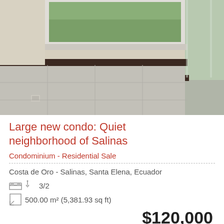[Figure (photo): Interior photo of an empty room with light tile floor, dark wood baseboard, cream/beige walls, large window showing green exterior, and glass wall/balcony on right side.]
Large new condo: Quiet neighborhood of Salinas
Condominium - Residential Sale
Costa de Oro - Salinas, Santa Elena, Ecuador
3/2
500.00 m² (5,381.93 sq ft)
$120,000